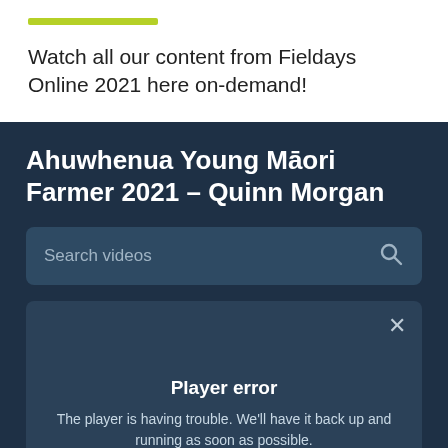[Figure (other): Green horizontal bar accent]
Watch all our content from Fieldays Online 2021 here on-demand!
Ahuwhenua Young Māori Farmer 2021 – Quinn Morgan
[Figure (screenshot): Search videos input bar with magnifying glass icon]
[Figure (screenshot): Video player error panel with close (×) button, 'Player error' heading, and message: The player is having trouble. We'll have it back up and running as soon as possible.]